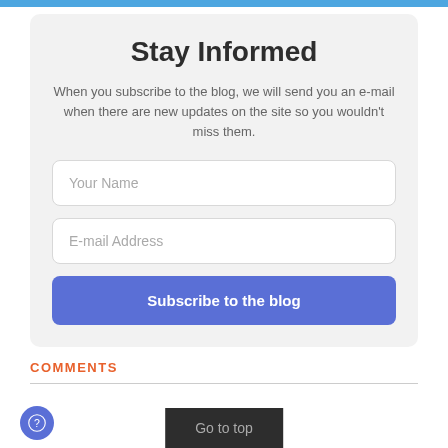Stay Informed
When you subscribe to the blog, we will send you an e-mail when there are new updates on the site so you wouldn't miss them.
Your Name
E-mail Address
Subscribe to the blog
COMMENTS
Go to top